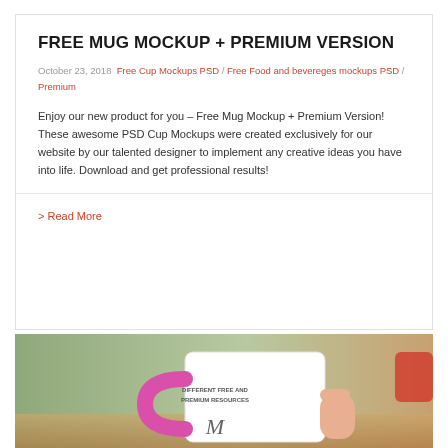FREE MUG MOCKUP + PREMIUM VERSION
October 23, 2018  Free Cup Mockups PSD / Free Food and bevereges mockups PSD / Premium
Enjoy our new product for you – Free Mug Mockup + Premium Version! These awesome PSD Cup Mockups were created exclusively for our website by our talented designer to implement any creative ideas you have into life. Download and get professional results!
> Read More
[Figure (photo): Photograph of a white mug with pink handle and text on it, held by a hand, with a blurred green background. The mug shows text 'DIFFERENT FREE AND PREMIUM RESOURCES'.]